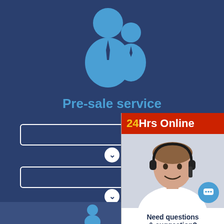[Figure (illustration): Two blue person icons (adult with tie and child with tie) representing customer service staff]
Pre-sale service
Shuttle bus
Factory visit
Business tourism
Conference reception
[Figure (infographic): 24Hrs Online chat widget with customer service agent photo, chat bubble icon, 'Need questions & suggestion?' text, and 'Chat Now' button]
Enquire